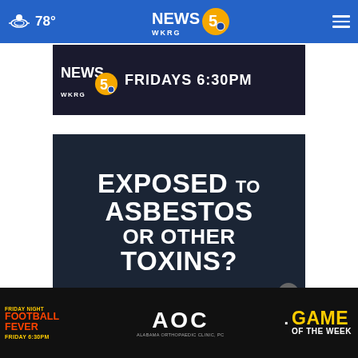78° NEWS 5 WKRG
[Figure (screenshot): WKRG News 5 top ad banner: NEWS 5 WKRG logo with text FRIDAYS 6:30PM]
[Figure (screenshot): Dark blue promotional image with large white text: EXPOSED TO ASBESTOS OR OTHER TOXINS?]
[Figure (screenshot): Bottom ad banner: Friday Night Football Fever, AOC Alabama Orthopaedic Clinic PC, GAME OF THE WEEK, FRIDAY 6:30PM]